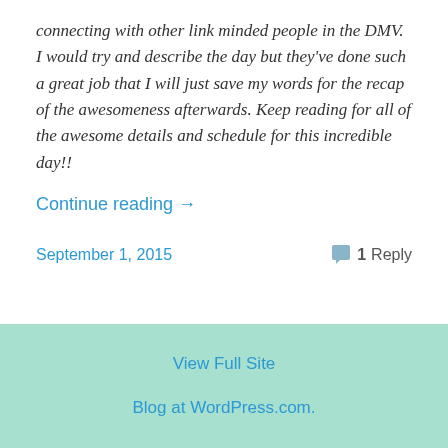connecting with other link minded people in the DMV.  I would try and describe the day but they've done such a great job that I will just save my words for the recap of the awesomeness afterwards. Keep reading for all of the awesome details and schedule for this incredible day!!
Continue reading →
September 1, 2015
1 Reply
View Full Site
Blog at WordPress.com.